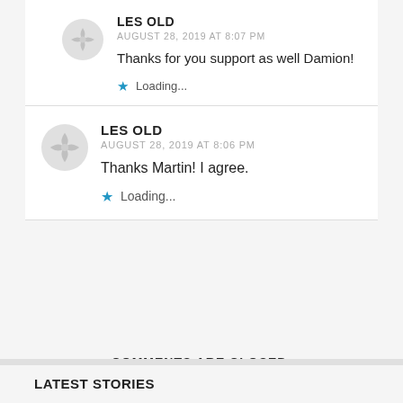LES OLD
AUGUST 28, 2019 AT 8:07 PM
Thanks for you support as well Damion!
★ Loading...
LES OLD
AUGUST 28, 2019 AT 8:06 PM
Thanks Martin! I agree.
★ Loading...
COMMENTS ARE CLOSED.
LATEST STORIES